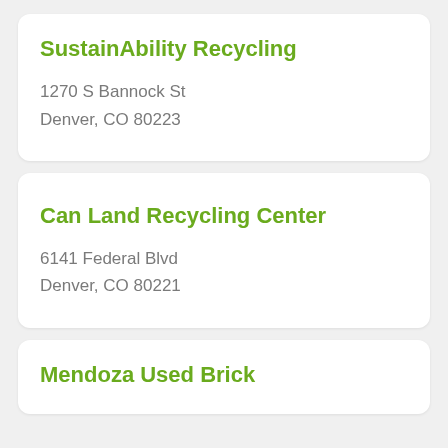SustainAbility Recycling
1270 S Bannock St
Denver, CO 80223
Can Land Recycling Center
6141 Federal Blvd
Denver, CO 80221
Mendoza Used Brick